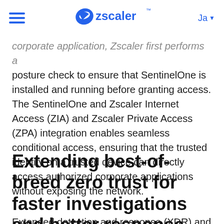Zscaler — Ja
corporate application, Zscaler first performs a posture check to ensure that SentinelOne is installed and running before granting access. The SentinelOne and Zscaler Internet Access (ZIA) and Zscaler Private Access (ZPA) integration enables seamless conditional access, ensuring that the trusted identity on a trusted device can directly access authorized corporate applications without exposing the network.
Extending best-of-breed zero trust for faster investigations and better response
Extended detection and response (XDR) and zero